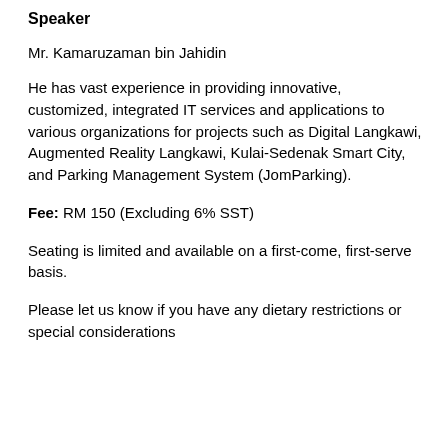Speaker
Mr. Kamaruzaman bin Jahidin
He has vast experience in providing innovative, customized, integrated IT services and applications to various organizations for projects such as Digital Langkawi, Augmented Reality Langkawi, Kulai-Sedenak Smart City, and Parking Management System (JomParking).
Fee: RM 150 (Excluding 6% SST)
Seating is limited and available on a first-come, first-serve basis.
Please let us know if you have any dietary restrictions or special considerations